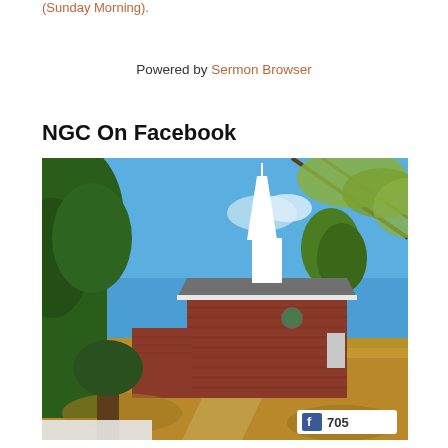(Sunday Morning).
Powered by Sermon Browser
NGC On Facebook
[Figure (photo): Outdoor photograph of a brick church building with a white steeple, surrounded by trees with autumn foliage and blue sky. A Facebook badge showing 705 is visible in the bottom right corner.]